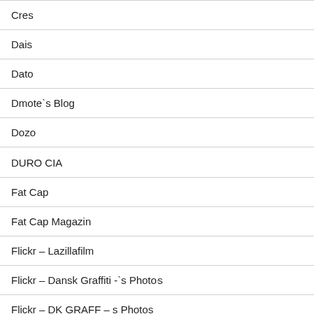Cres
Dais
Dato
Dmote`s Blog
Dozo
DURO CIA
Fat Cap
Fat Cap Magazin
Flickr – Lazillafilm
Flickr – Dansk Graffiti -`s Photos
Flickr – DK GRAFF – s Photos